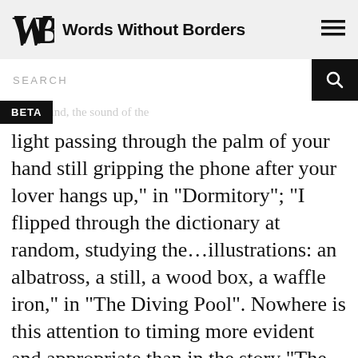Words Without Borders
SEARCH
BETA
light passing through the palm of your hand still gripping the phone after your lover hangs up,” in “Dormitory”; “I flipped through the dictionary at random, studying the…illustrations: an albatross, a still, a wood box, a waffle iron,” in “The Diving Pool”. Nowhere is this attention to timing more evident and appropriate than in the story “The Diving Pool,” in which style and form follow narrative function in a manner as seamless and organic as, well, a medal-winning plunge off an Olympic springboard.